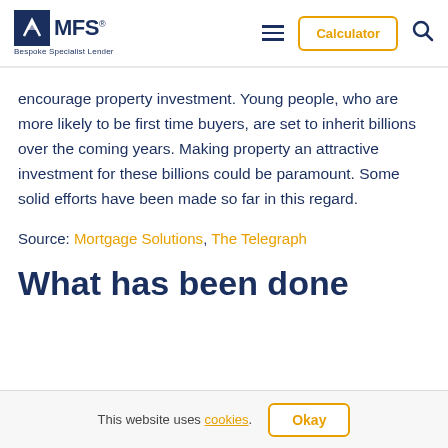MFS – Bespoke Specialist Lender | Calculator
encourage property investment. Young people, who are more likely to be first time buyers, are set to inherit billions over the coming years. Making property an attractive investment for these billions could be paramount. Some solid efforts have been made so far in this regard.
Source: Mortgage Solutions, The Telegraph
What has been done
This website uses cookies. Okay